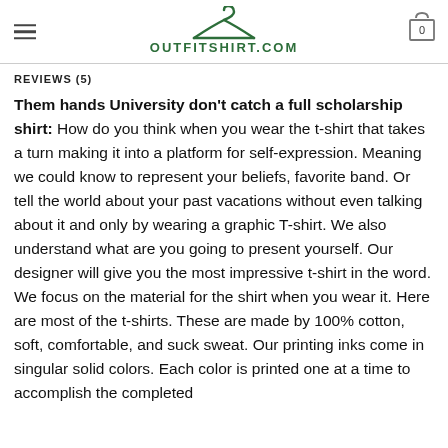OUTFITSHIRT.COM
REVIEWS (5)
Them hands University don't catch a full scholarship shirt: How do you think when you wear the t-shirt that takes a turn making it into a platform for self-expression. Meaning we could know to represent your beliefs, favorite band. Or tell the world about your past vacations without even talking about it and only by wearing a graphic T-shirt. We also understand what are you going to present yourself. Our designer will give you the most impressive t-shirt in the word. We focus on the material for the shirt when you wear it. Here are most of the t-shirts. These are made by 100% cotton, soft, comfortable, and suck sweat. Our printing inks come in singular solid colors. Each color is printed one at a time to accomplish the completed